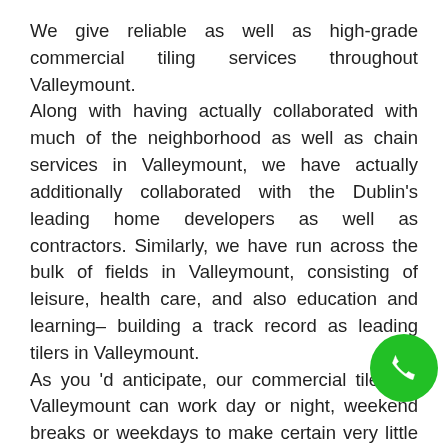We give reliable as well as high-grade commercial tiling services throughout Valleymount. Along with having actually collaborated with much of the neighborhood as well as chain services in Valleymount, we have actually additionally collaborated with the Dublin's leading home developers as well as contractors. Similarly, we have run across the bulk of fields in Valleymount, consisting of leisure, health care, and also education and learning– building a track record as leading tilers in Valleymount. As you 'd anticipate, our commercial tilers in Valleymount can work day or night, weekend breaks or weekdays to make certain very little disruption to your office functioning hrs– flexible to the demands of your company. You will be designated a skilled website monitoring group when we start works, making certain that we end up the task on time, within the budget, as
[Figure (other): Green circular phone call button in bottom-right corner]